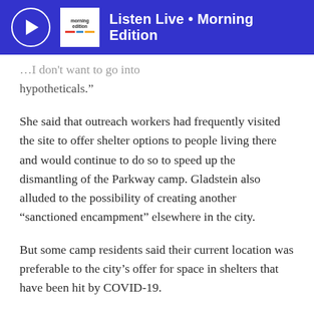Listen Live • Morning Edition
...I don't want to go into hypotheticals."
She said that outreach workers had frequently visited the site to offer shelter options to people living there and would continue to do so to speed up the dismantling of the Parkway camp. Gladstein also alluded to the possibility of creating another “sanctioned encampment” elsewhere in the city.
But some camp residents said their current location was preferable to the city’s offer for space in shelters that have been hit by COVID-19.
“We’ve all talked to outreach a bunch of times,” said camp